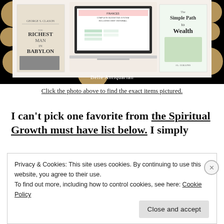[Figure (photo): Collage image on black background with gold polka dots showing books (The Richest Man in Babylon, The Simple Path to Wealth) and a budgeting spreadsheet on a laptop screen, with Belle Antiquarian watermark]
Click the photo above to find the exact items pictured.
I can't pick one favorite from the Spiritual Growth must have list below. I simply
Privacy & Cookies: This site uses cookies. By continuing to use this website, you agree to their use.
To find out more, including how to control cookies, see here: Cookie Policy
Close and accept